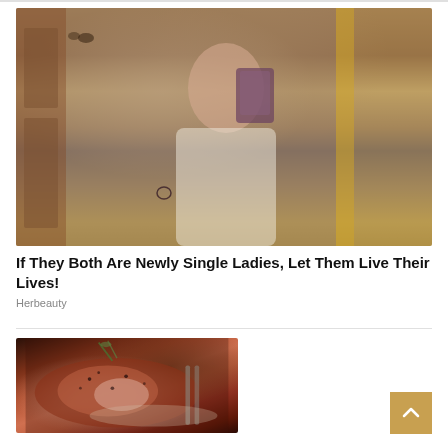[Figure (photo): Woman in white corset top taking a mirror selfie with phone, background shows ornate gold-framed mirror and painted wall art]
If They Both Are Newly Single Ladies, Let Them Live Their Lives!
Herbeauty
[Figure (photo): Close-up photo of a cooked steak or meat dish with herbs and garnish on a plate with utensils]